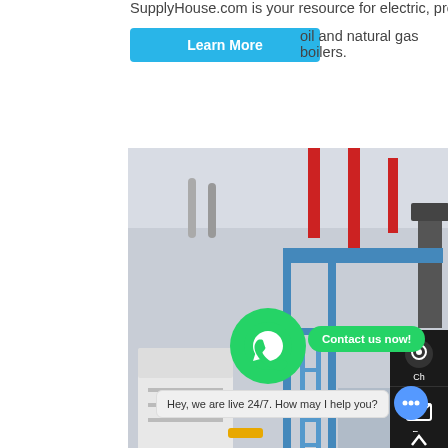SupplyHouse.com is your resource for electric, propane, oil and natural gas boilers.
Learn More
[Figure (photo): Industrial marine boilers in a large facility with red and blue pipes, metal scaffolding, and large cylindrical boiler tanks]
Marine Boiler... Cheap Marine Boiler At Low Price
9167 items fo... boiler prices, you can buy quality marine boiler at
Hey, we are live 24/7. How may I help you?
Contact us now!